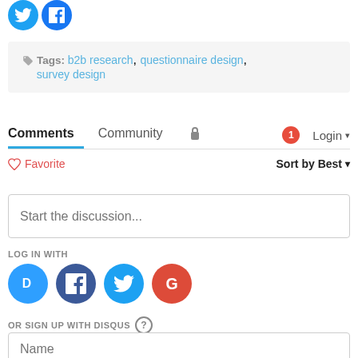[Figure (logo): Twitter and Facebook circular icons at top left]
Tags: b2b research, questionnaire design, survey design
Comments  Community  [lock icon]  [1 notification]  Login
♡ Favorite    Sort by Best
Start the discussion...
LOG IN WITH
[Figure (logo): Disqus, Facebook, Twitter, Google social login icons]
OR SIGN UP WITH DISQUS ?
Name